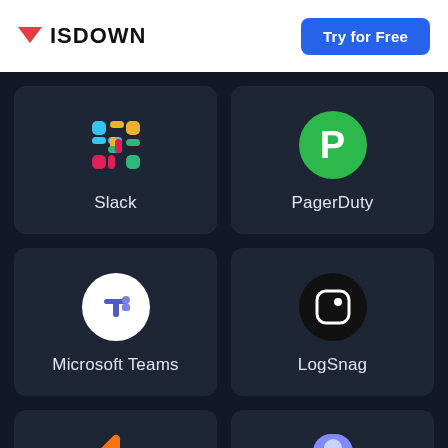ISDOWN | Try for Free
[Figure (screenshot): Grid of service cards: Slack, PagerDuty, Microsoft Teams, LogSnag, and two partial cards at the bottom (asterisk icon, blue figure icon)]